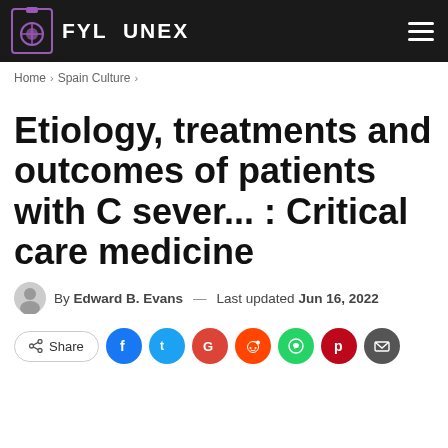FYL UNEX
Home > Spain Culture >
Etiology, treatments and outcomes of patients with C sever... : Critical care medicine
By Edward B. Evans — Last updated Jun 16, 2022
Share [social buttons: Facebook, Twitter, Google, Reddit, WhatsApp, Pinterest, Email]